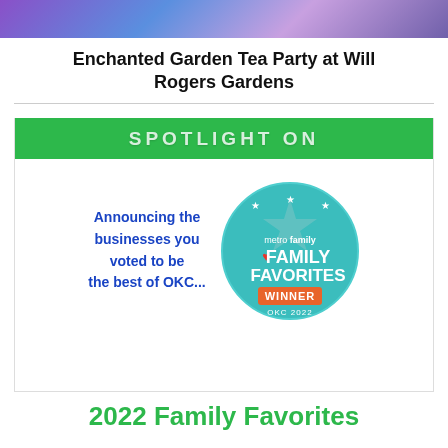[Figure (photo): Top banner image with purple/blue gradient lights background]
Enchanted Garden Tea Party at Will Rogers Gardens
[Figure (infographic): Spotlight On promotional box with green header reading SPOTLIGHT ON, containing text 'Announcing the businesses you voted to be the best of OKC...' alongside a metro family Family Favorites Winner OKC 2022 badge/seal in teal with stars]
2022 Family Favorites